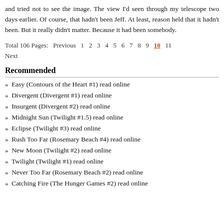and tried not to see the image. The view I'd seen through my telescope two days earlier. Of course, that hadn't been Jeff. At least, reason held that it hadn't been. But it really didn't matter. Because it had been somebody.
Total 106 Pages: Previous 1 2 3 4 5 6 7 8 9 10 11 Next
Recommended
» Easy (Contours of the Heart #1) read online
» Divergent (Divergent #1) read online
» Insurgent (Divergent #2) read online
» Midnight Sun (Twilight #1.5) read online
» Eclipse (Twilight #3) read online
» Rush Too Far (Rosemary Beach #4) read online
» New Moon (Twilight #2) read online
» Twilight (Twilight #1) read online
» Never Too Far (Rosemary Beach #2) read online
» Catching Fire (The Hunger Games #2) read online